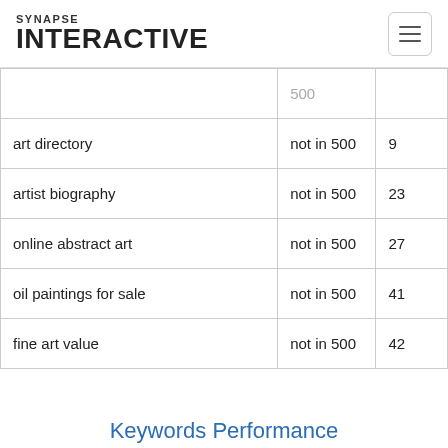SYNAPSE INTERACTIVE
|  |  |  |
| --- | --- | --- |
|  | 500 |  |
| art directory | not in 500 | 9 |
| artist biography | not in 500 | 23 |
| online abstract art | not in 500 | 27 |
| oil paintings for sale | not in 500 | 41 |
| fine art value | not in 500 | 42 |
Keywords Performance